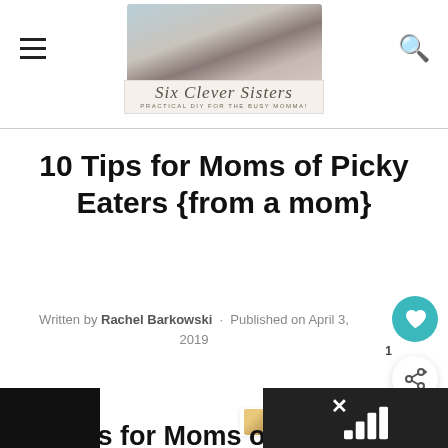[Figure (logo): Six Clever Sisters website header with photo of six women and script logo text]
10 Tips for Moms of Picky Eaters {from a mom}
Written by Rachel Barkowski · Published on April 3, 2019
WHAT'S NEXT → Organization
10 Tips for Moms of Picky